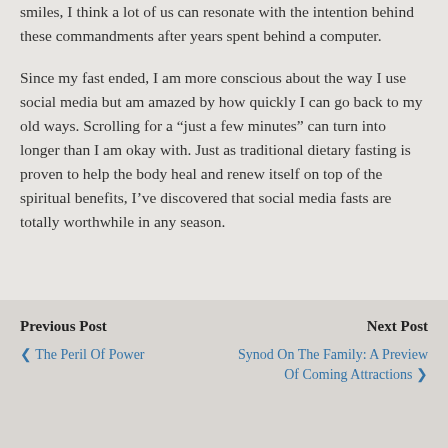smiles, I think a lot of us can resonate with the intention behind these commandments after years spent behind a computer.
Since my fast ended, I am more conscious about the way I use social media but am amazed by how quickly I can go back to my old ways. Scrolling for a “just a few minutes” can turn into longer than I am okay with. Just as traditional dietary fasting is proven to help the body heal and renew itself on top of the spiritual benefits, I’ve discovered that social media fasts are totally worthwhile in any season.
Previous Post: The Peril Of Power | Next Post: Synod On The Family: A Preview Of Coming Attractions